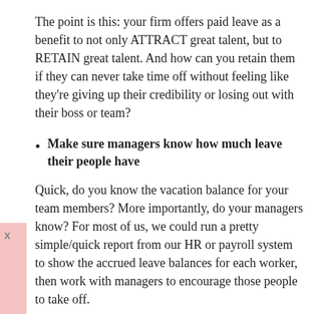The point is this: your firm offers paid leave as a benefit to not only ATTRACT great talent, but to RETAIN great talent. And how can you retain them if they can never take time off without feeling like they're giving up their credibility or losing out with their boss or team?
Make sure managers know how much leave their people have
Quick, do you know the vacation balance for your team members? More importantly, do your managers know? For most of us, we could run a pretty simple/quick report from our HR or payroll system to show the accrued leave balances for each worker, then work with managers to encourage those people to take off.
It's important to remember this isn't just about reducing burnout, it could be about reducing the bottleneck an